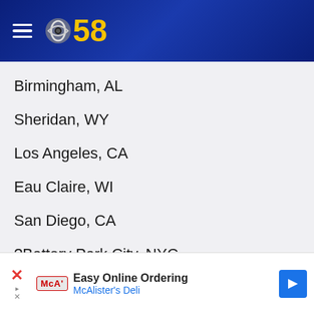CBS 58
Birmingham, AL
Sheridan, WY
Los Angeles, CA
Eau Claire, WI
San Diego, CA
?Battery Park City, NYC
?Huntington, NY
?Columbus, OH
[Figure (screenshot): Advertisement banner for McAlister's Deli - Easy Online Ordering]